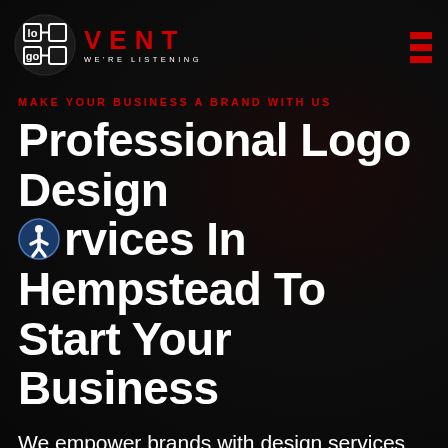[Figure (logo): LogoVent logo: circular dark icon with stylized 'lo go' text in white squares, followed by 'VENT' in large red letters and 'WE'RE LISTENING' tagline in small white caps]
[Figure (other): Three red horizontal rectangle bars forming a hamburger/menu icon in the top right corner]
MAKE YOUR BUSINESS A BRAND WITH US
Professional Logo Design Services In Hempstead To Start Your Business
We empower brands with design services support to make their dreams a reality. We believe to represent companies in the digital world with new ideas and innovation in graphic design.